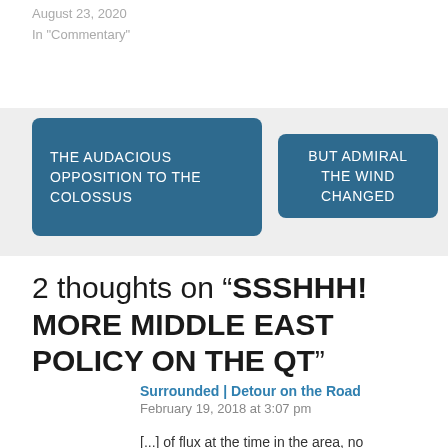August 23, 2020
In "Commentary"
THE AUDACIOUS OPPOSITION TO THE COLOSSUS
BUT ADMIRAL THE WIND CHANGED
2 thoughts on “SSSHHH! MORE MIDDLE EAST POLICY ON THE QT”
Surrounded | Detour on the Road
February 19, 2018 at 3:07 pm
[...] of flux at the time in the area, no